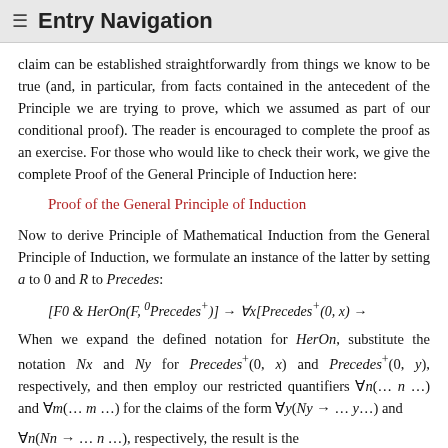≡ Entry Navigation
claim can be established straightforwardly from things we know to be true (and, in particular, from facts contained in the antecedent of the Principle we are trying to prove, which we assumed as part of our conditional proof). The reader is encouraged to complete the proof as an exercise. For those who would like to check their work, we give the complete Proof of the General Principle of Induction here:
Proof of the General Principle of Induction
Now to derive Principle of Mathematical Induction from the General Principle of Induction, we formulate an instance of the latter by setting a to 0 and R to Precedes:
When we expand the defined notation for HerOn, substitute the notation Nx and Ny for Precedes⁺(0, x) and Precedes⁺(0, y), respectively, and then employ our restricted quantifiers ∀n(. . . n . . .) and ∀m(. . . m . . .) for the claims of the form ∀y(Ny → . . . y . . .) and ∀n(Nn → . . . n . . .), respectively, the result is the